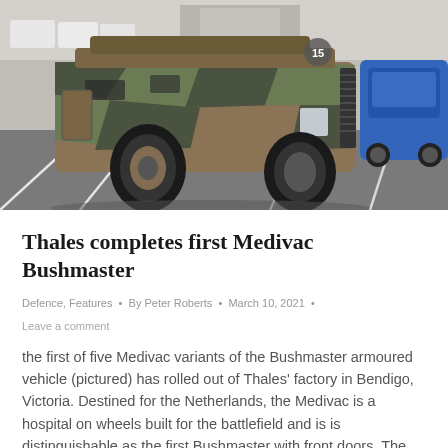[Figure (photo): Photograph of a Bushmaster Medivac armoured vehicle in camouflage paint parked in a car park. The large wheeled armoured vehicle dominates the foreground, with white parking lines visible on the asphalt and a blue car partially visible on the right.]
Thales completes first Medivac Bushmaster
Defence, Features • By Peter Roberts • March 10, 2021 •
Leave a comment
the first of five Medivac variants of the Bushmaster armoured vehicle (pictured) has rolled out of Thales' factory in Bendigo, Victoria. Destined for the Netherlands, the Medivac is a hospital on wheels built for the battlefield and is is distinguishable as the first Bushmaster with front doors. The $14 million order brings to 100 the